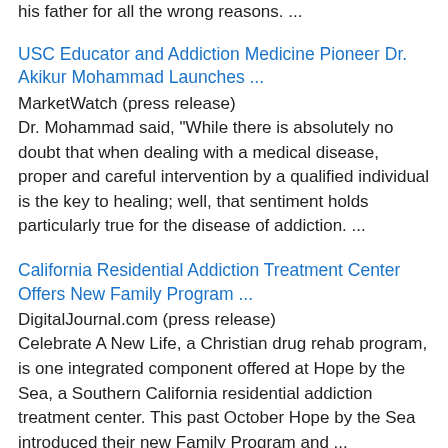his father for all the wrong reasons. ...
USC Educator and Addiction Medicine Pioneer Dr. Akikur Mohammad Launches ...
MarketWatch (press release)
Dr. Mohammad said, "While there is absolutely no doubt that when dealing with a medical disease, proper and careful intervention by a qualified individual is the key to healing; well, that sentiment holds particularly true for the disease of addiction. ...
California Residential Addiction Treatment Center Offers New Family Program ...
DigitalJournal.com (press release)
Celebrate A New Life, a Christian drug rehab program, is one integrated component offered at Hope by the Sea, a Southern California residential addiction treatment center. This past October Hope by the Sea introduced their new Family Program and ...
Celebrity Rehab Revisited Continues To Present Addiction As A Fantasy
Crushable